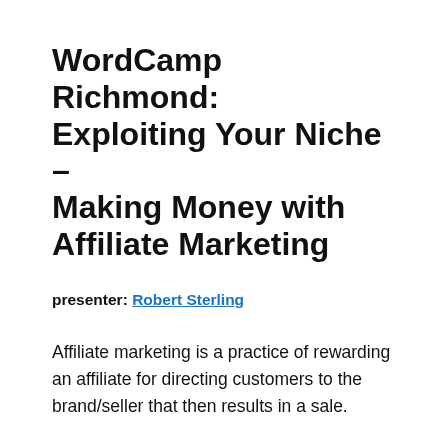WordCamp Richmond: Exploiting Your Niche – Making Money with Affiliate Marketing
presenter: Robert Sterling
Affiliate marketing is a practice of rewarding an affiliate for directing customers to the brand/seller that then results in a sale.
“If you’re good at something, never do it for free.” If you have a blog that’s interesting and